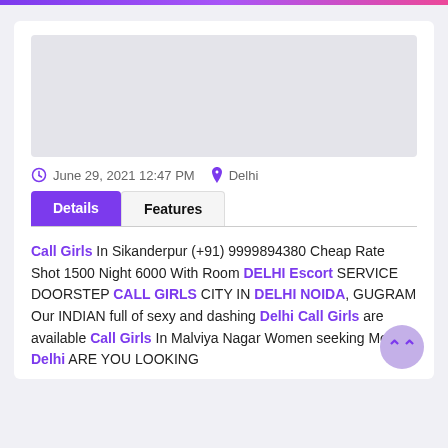[Figure (other): Light gray rectangular placeholder image area]
June 29, 2021 12:47 PM   Delhi
Details  Features (tab buttons)
Call Girls In Sikanderpur (+91) 9999894380 Cheap Rate Shot 1500 Night 6000 With Room DELHI Escort SERVICE DOORSTEP CALL GIRLS CITY IN DELHI NOIDA, GUGRAM Our INDIAN full of sexy and dashing Delhi Call Girls are available Call Girls In Malviya Nagar Women seeking Men Delhi ARE YOU LOOKING